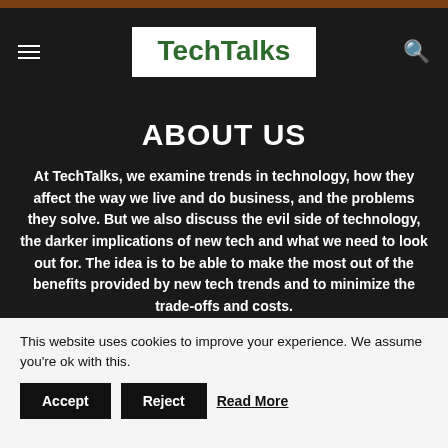TechTalks
ABOUT US
At TechTalks, we examine trends in technology, how they affect the way we live and do business, and the problems they solve. But we also discuss the evil side of technology, the darker implications of new tech and what we need to look out for. The idea is to be able to make the most out of the benefits provided by new tech trends and to minimize the trade-offs and costs.
This website uses cookies to improve your experience. We assume you're ok with this. Accept Reject Read More